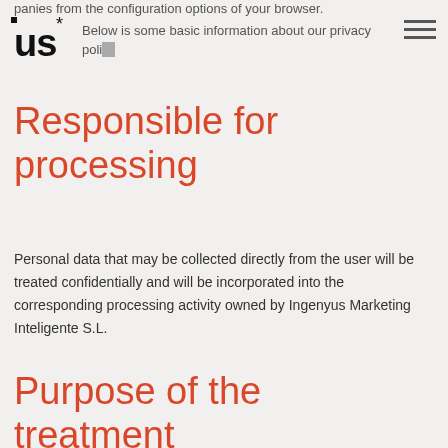Below is some basic information about our privacy policy
Responsible for processing
Personal data that may be collected directly from the user will be treated confidentially and will be incorporated into the corresponding processing activity owned by Ingenyus Marketing Inteligente S.L.
Purpose of the treatment